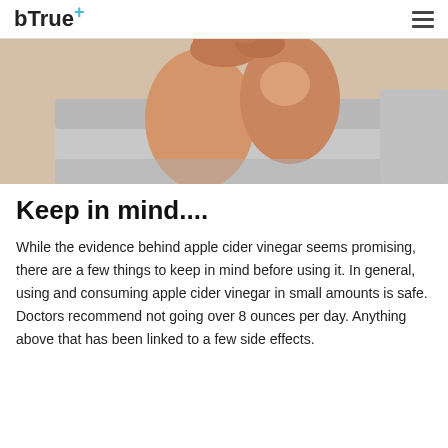bTrue+
[Figure (photo): Close-up photo of a person's legs and knees sitting on a light gray couch, hands resting on knees.]
Keep in mind....
While the evidence behind apple cider vinegar seems promising, there are a few things to keep in mind before using it. In general, using and consuming apple cider vinegar in small amounts is safe. Doctors recommend not going over 8 ounces per day. Anything above that has been linked to a few side effects.